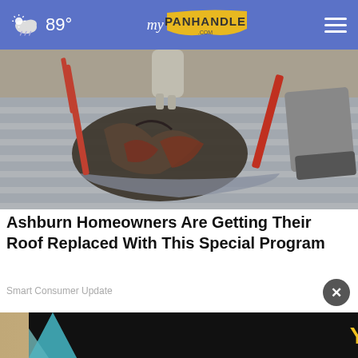myPANHANDLE.com — 89°
[Figure (photo): Close-up photo of a damaged roof with broken and torn shingles, workers removing old roofing material with tools visible]
Ashburn Homeowners Are Getting Their Roof Replaced With This Special Program
Smart Consumer Update
[Figure (infographic): Advertisement banner with the word YOUR in bold yellow text on a black background, with colorful triangles on the left and a play button icon on the right]